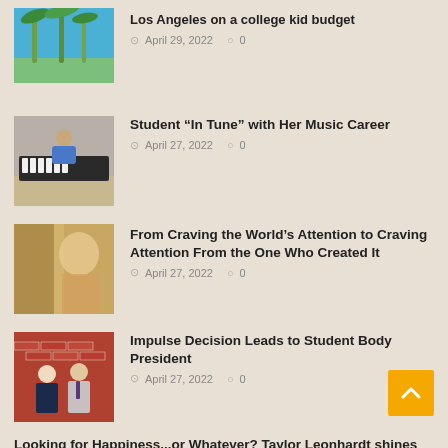[Figure (photo): Photo of palm trees against blue sky (Los Angeles)]
Los Angeles on a college kid budget
April 29, 2022  0
[Figure (photo): Photo of a student playing or sitting at a piano]
Student “In Tune” with Her Music Career
April 27, 2022  0
[Figure (photo): Blurred portrait photo with warm tones]
From Craving the World’s Attention to Craving Attention From the One Who Created It
April 27, 2022  0
[Figure (photo): Photo of two students standing in front of a brick wall]
Impulse Decision Leads to Student Body President
April 27, 2022  0
Looking for Happiness...or Whatever? Taylor Leonhardt shines with this week’s